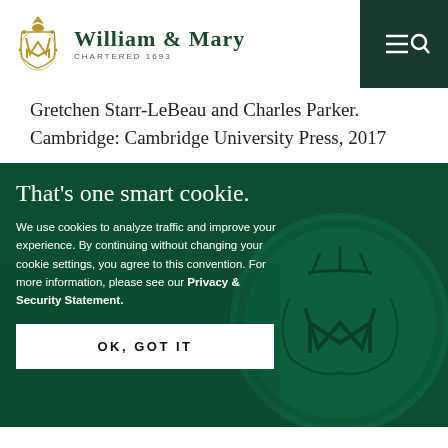William & Mary — Chartered 1693
Gretchen Starr-LeBeau and Charles Parker. Cambridge: Cambridge University Press, 2017
[Figure (screenshot): William & Mary cookie consent overlay with dark green background featuring the W&M royal cypher seal, heading 'That's one smart cookie.', cookie policy text, and an 'OK, GOT IT' button]
That's one smart cookie.
We use cookies to analyze traffic and improve your experience. By continuing without changing your cookie settings, you agree to this convention. For more information, please see our Privacy & Security Statement.